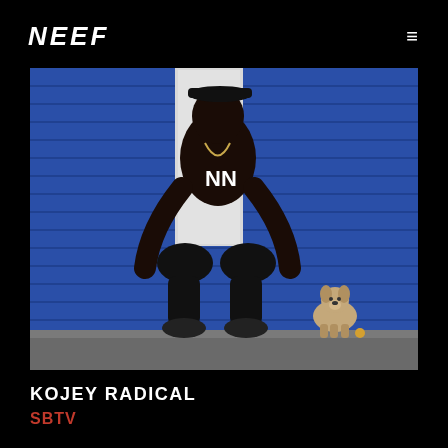NEEF
[Figure (photo): A man crouching shirtless wearing a black cap and dark shorts with a small white dog beside him, in front of a blue metal shutter/garage door. Street photography style, black and white toned.]
KOJEY RADICAL
SBTV